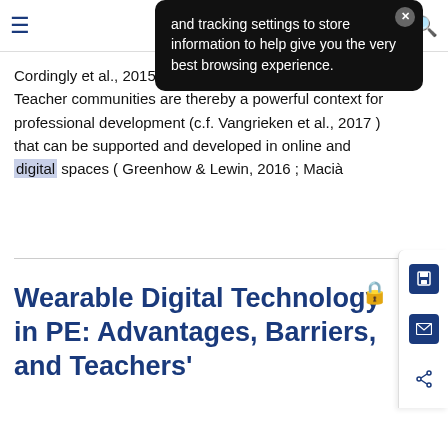[Figure (screenshot): Dark cookie consent popup overlay with close X button, containing text about tracking settings and browsing experience]
Cordingly et al., 2015 ; Vangrieken et al., 2017 ). Teacher communities are thereby a powerful context for professional development (c.f. Vangrieken et al., 2017 ) that can be supported and developed in online and digital spaces ( Greenhow & Lewin, 2016 ; Macià
Wearable Digital Technology in PE: Advantages, Barriers, and Teachers'